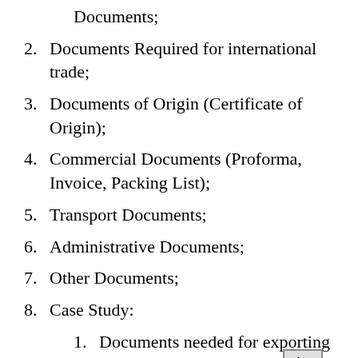Documents;
2. Documents Required for international trade;
3. Documents of Origin (Certificate of Origin);
4. Commercial Documents (Proforma, Invoice, Packing List);
5. Transport Documents;
6. Administrative Documents;
7. Other Documents;
8. Case Study:
1. Documents needed for exporting to Brazil;
2. Documentation for exporting fish to